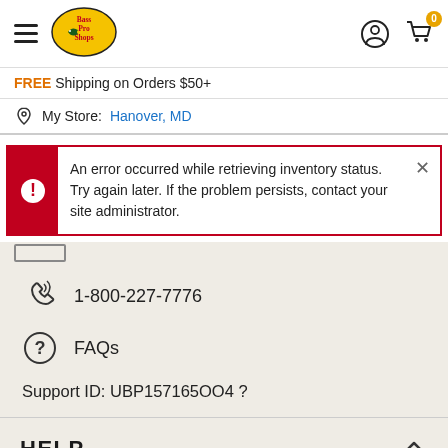[Figure (logo): Bass Pro Shops logo in oval shape with fish graphic]
FREE Shipping on Orders $50+
My Store: Hanover, MD
An error occurred while retrieving inventory status. Try again later. If the problem persists, contact your site administrator.
1-800-227-7776
FAQs
Support ID: UBP157165OO4 ?
HELP